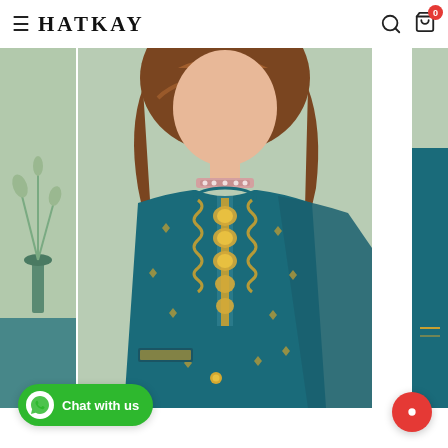≡ HATKAY 🔍 🛒 (0)
[Figure (photo): E-commerce product page for Hatkay showing a woman wearing a teal/dark green embroidered Pakistani/Indian salwar kameez suit with gold embroidery on the neckline and sleeves, pearl/kundan choker necklace, brown wavy hair; green background. Three panel view: left panel shows partial background with plant/vase decor, center panel is main product photo close-up from waist up, right panel is partial view of sleeve.]
Chat with us
[Figure (other): Red circular FAB (floating action button) on bottom right corner]